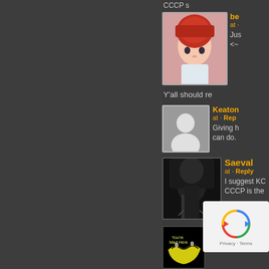[Figure (screenshot): Forum/comment section screenshot with dark background showing multiple user comments. Left half is a dark gray panel. Right half shows comments with user avatars, usernames in orange/gold, and comment text in light gray.]
CCCP s
[Figure (illustration): Anime-style avatar with red/orange hair]
be
at ·
Jus <~
Y'all should re
[Figure (photo): Default gray silhouette avatar placeholder]
Keaton
at · Reply
Giving h can do.
[Figure (photo): Dark image of a cloaked figure with a scythe, like a grim reaper]
Saeval
at · Reply
I suggest KC CCCP is the
[Figure (photo): Black background with a glowing Cheshire Cat grin smile]
Advojka
at · Reply
Hello,
I'd like to ask you Shirayukihime? C very good and I'd like you to
[Figure (screenshot): reCAPTCHA widget overlay in bottom right corner showing recycling arrows icon and Privacy · Terms text]